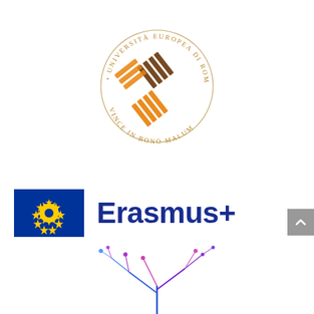[Figure (logo): Università Europea di Roma circular seal logo with woven/interlaced geometric pattern in orange and brown, text around circle reads UNIVERSITÀ EUROPEA DI ROMA and VINCE IN BONO MALUM]
[Figure (logo): Erasmus+ logo consisting of EU blue flag with yellow stars on left and Erasmus+ text in dark blue on right]
[Figure (illustration): Partial colorful tree/network illustration in blue, purple and pink colors at bottom of page]